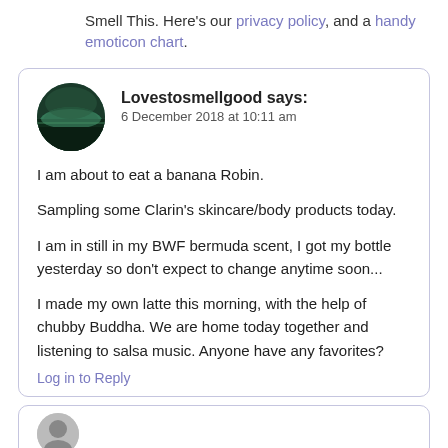Smell This. Here's our privacy policy, and a handy emoticon chart.
Lovestosmellgood says:
6 December 2018 at 10:11 am

I am about to eat a banana Robin.

Sampling some Clarin's skincare/body products today.

I am in still in my BWF bermuda scent, I got my bottle yesterday so don't expect to change anytime soon...

I made my own latte this morning, with the help of chubby Buddha. We are home today together and listening to salsa music. Anyone have any favorites?
Log in to Reply